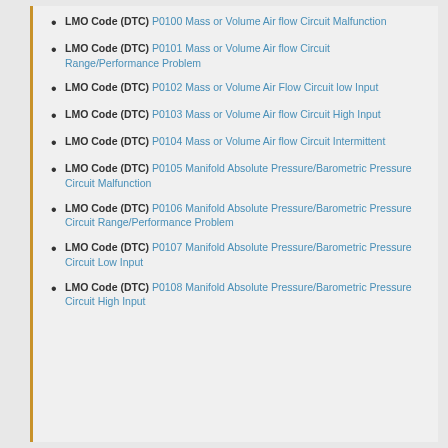LMO Code (DTC) P0100 Mass or Volume Air flow Circuit Malfunction
LMO Code (DTC) P0101 Mass or Volume Air flow Circuit Range/Performance Problem
LMO Code (DTC) P0102 Mass or Volume Air Flow Circuit low Input
LMO Code (DTC) P0103 Mass or Volume Air flow Circuit High Input
LMO Code (DTC) P0104 Mass or Volume Air flow Circuit Intermittent
LMO Code (DTC) P0105 Manifold Absolute Pressure/Barometric Pressure Circuit Malfunction
LMO Code (DTC) P0106 Manifold Absolute Pressure/Barometric Pressure Circuit Range/Performance Problem
LMO Code (DTC) P0107 Manifold Absolute Pressure/Barometric Pressure Circuit Low Input
LMO Code (DTC) P0108 Manifold Absolute Pressure/Barometric Pressure Circuit High Input